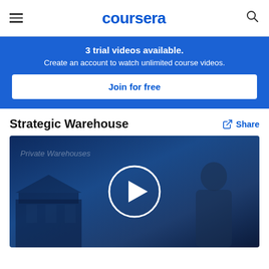coursera
3 trial videos available. Create an account to watch unlimited course videos.
Join for free
Strategic Warehouse
Share
[Figure (screenshot): Video thumbnail showing a dark blue background with a building/warehouse silhouette on the left, a person on the right, text 'Private Warehouses' in upper left, and a circular play button in the center.]